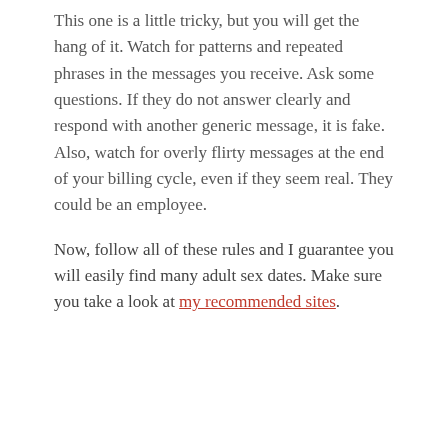This one is a little tricky, but you will get the hang of it. Watch for patterns and repeated phrases in the messages you receive. Ask some questions. If they do not answer clearly and respond with another generic message, it is fake. Also, watch for overly flirty messages at the end of your billing cycle, even if they seem real. They could be an employee.
Now, follow all of these rules and I guarantee you will easily find many adult sex dates. Make sure you take a look at my recommended sites.